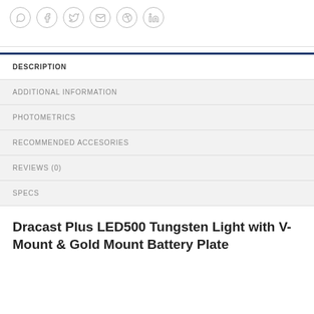[Figure (infographic): Row of 6 social media icon circles: WhatsApp, Facebook, Twitter, Email, Pinterest, LinkedIn]
DESCRIPTION
ADDITIONAL INFORMATION
PHOTOMETRICS
RECOMMENDED ACCESORIES
REVIEWS (0)
SPECS
Dracast Plus LED500 Tungsten Light with V-Mount & Gold Mount Battery Plate